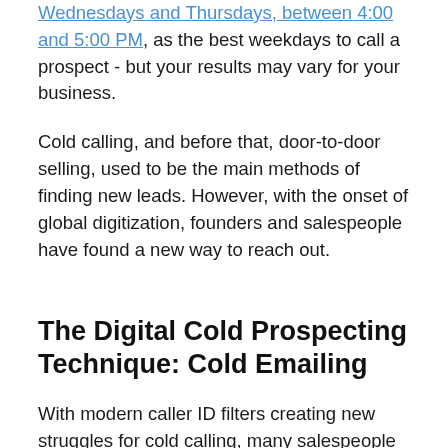Wednesdays and Thursdays, between 4:00 and 5:00 PM, as the best weekdays to call a prospect - but your results may vary for your business.
Cold calling, and before that, door-to-door selling, used to be the main methods of finding new leads. However, with the onset of global digitization, founders and salespeople have found a new way to reach out.
The Digital Cold Prospecting Technique: Cold Emailing
With modern caller ID filters creating new struggles for cold calling, many salespeople have shifted to cold emailing. Younger generations often prefer